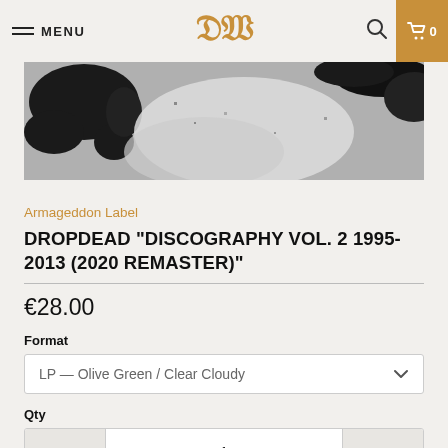MENU | DW | 🔍 | 🛒 0
[Figure (photo): Partial black and white photo of album artwork — black ink splashes and textures on a grey background]
Armageddon Label
DROPDEAD "DISCOGRAPHY VOL. 2 1995-2013 (2020 REMASTER)"
€28.00
Format
LP — Olive Green / Clear Cloudy
Qty
1